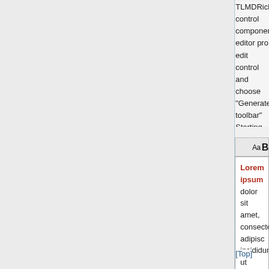TLMDRichEdit control component editor pro edit control and choose "Generate toolbar" Starting from 2022 release the font based ic friendly and can be easily recolored. As well neutral color and used as a DisabledImages
[Figure (screenshot): A rich text editor toolbar with icons for open, save, cut, copy, paste, undo, redo, font size, bold, italic, and a text editor area showing Lorem ipsum text with 'Lorem ipsum' in bold red and 'id est laborum.' in red.]
[Top]